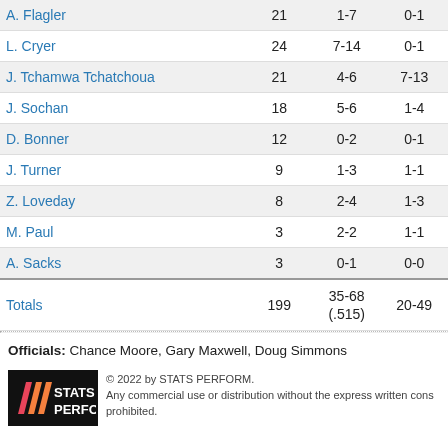| Player | MIN | FG | 3PT |
| --- | --- | --- | --- |
| A. Flagler | 21 | 1-7 | 0-1 |
| L. Cryer | 24 | 7-14 | 0-1 |
| J. Tchamwa Tchatchoua | 21 | 4-6 | 7-13 |
| J. Sochan | 18 | 5-6 | 1-4 |
| D. Bonner | 12 | 0-2 | 0-1 |
| J. Turner | 9 | 1-3 | 1-1 |
| Z. Loveday | 8 | 2-4 | 1-3 |
| M. Paul | 3 | 2-2 | 1-1 |
| A. Sacks | 3 | 0-1 | 0-0 |
| Totals | 199 | 35-68 (.515) | 20-49 |
Officials: Chance Moore, Gary Maxwell, Doug Simmons
© 2022 by STATS PERFORM. Any commercial use or distribution without the express written consent is prohibited.